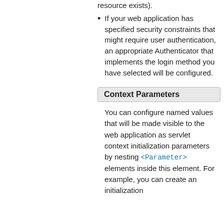resource exists).
If your web application has specified security constraints that might require user authentication, an appropriate Authenticator that implements the login method you have selected will be configured.
Context Parameters
You can configure named values that will be made visible to the web application as servlet context initialization parameters by nesting <Parameter> elements inside this element. For example, you can create an initialization